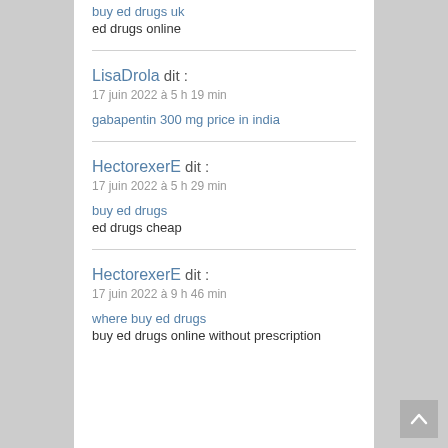buy ed drugs uk
ed drugs online
LisaDrola dit :
17 juin 2022 à 5 h 19 min
gabapentin 300 mg price in india
HectorexerE dit :
17 juin 2022 à 5 h 29 min
buy ed drugs
ed drugs cheap
HectorexerE dit :
17 juin 2022 à 9 h 46 min
where buy ed drugs
buy ed drugs online without prescription